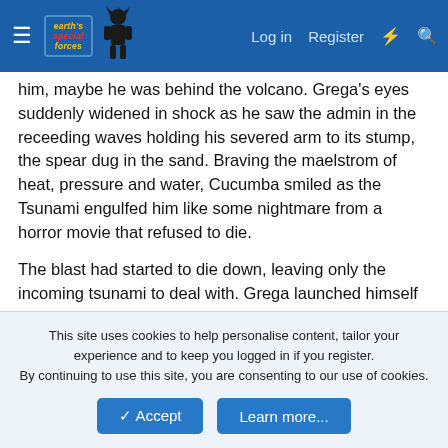Earth's Special Forces forum header with logo, Log in, Register, and search icons
him, maybe he was behind the volcano. Grega's eyes suddenly widened in shock as he saw the admin in the receeding waves holding his severed arm to its stump, the spear dug in the sand. Braving the maelstrom of heat, pressure and water, Cucumba smiled as the Tsunami engulfed him like some nightmare from a horror movie that refused to die.

The blast had started to die down, leaving only the incoming tsunami to deal with. Grega launched himself into the air to avoid the 30 foot wall of water approaching the island, and saw that the deep rumblings beneath their feet had finally transformed into full throated volcanic fury as magma and ash belched forth into the sky from the once extinct cone of the Volcanis Millenius.
This site uses cookies to help personalise content, tailor your experience and to keep you logged in if you register.
By continuing to use this site, you are consenting to our use of cookies.
✓ Accept   Learn more...